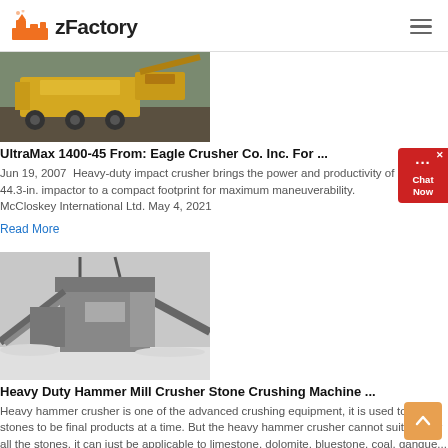zFactory
[Figure (photo): Yellow heavy-duty impact crushing machine (UltraMax) on a gravel/mining site]
UltraMax 1400-45 From: Eagle Crusher Co. Inc. For ...
Jun 19, 2007  Heavy-duty impact crusher brings the power and productivity of a 44.3-in. impactor to a compact footprint for maximum maneuverability. McCloskey International Ltd. May 4, 2021
Read More
[Figure (photo): Large stone crushing machine facility in a snowy outdoor environment with conveyor belts and machinery]
Heavy Duty Hammer Mill Crusher Stone Crushing Machine ...
Heavy hammer crusher is one of the advanced crushing equipment, it is used to crush stones to be final products at a time. But the heavy hammer crusher cannot suitable for all the stones, it can just be applicable to limestone, dolomite, bluestone, coal, gangue...